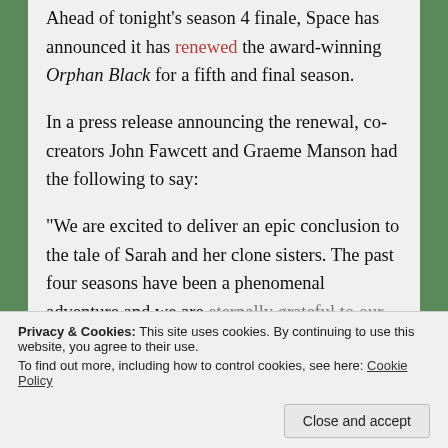Ahead of tonight's season 4 finale, Space has announced it has renewed the award-winning Orphan Black for a fifth and final season.
In a press release announcing the renewal, co-creators John Fawcett and Graeme Manson had the following to say:
“We are excited to deliver an epic conclusion to the tale of Sarah and her clone sisters. The past four seasons have been a phenomenal adventure and we are eternally grateful to our loyal fans who...
Privacy & Cookies: This site uses cookies. By continuing to use this website, you agree to their use.
To find out more, including how to control cookies, see here: Cookie Policy